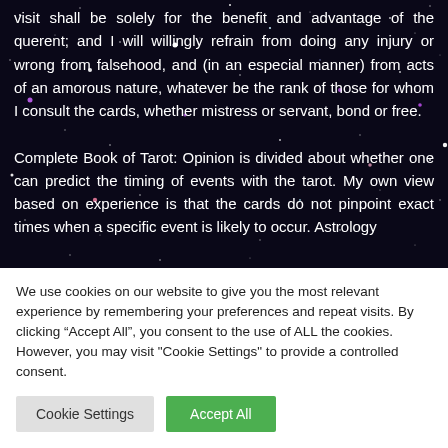visit shall be solely for the benefit and advantage of the querent; and I will willingly refrain from doing any injury or wrong from falsehood, and (in an especial manner) from acts of an amorous nature, whatever be the rank of those for whom I consult the cards, whether mistress or servant, bond or free.

Complete Book of Tarot: Opinion is divided about whether one can predict the timing of events with the tarot. My own view based on experience is that the cards do not pinpoint exact times when a specific event is likely to occur. Astrology
We use cookies on our website to give you the most relevant experience by remembering your preferences and repeat visits. By clicking “Accept All”, you consent to the use of ALL the cookies. However, you may visit "Cookie Settings" to provide a controlled consent.